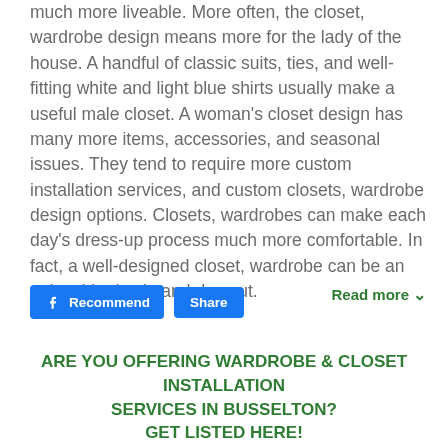much more liveable. More often, the closet, wardrobe design means more for the lady of the house. A handful of classic suits, ties, and well-fitting white and light blue shirts usually make a useful male closet. A woman's closet design has many more items, accessories, and seasonal issues. They tend to require more custom installation services, and custom closets, wardrobe design options. Closets, wardrobes can make each day's dress-up process much more comfortable. In fact, a well-designed closet, wardrobe can be an enjoyable day in and day out.
[Figure (other): Facebook Recommend and Share buttons]
Read more ∨
ARE YOU OFFERING WARDROBE & CLOSET INSTALLATION SERVICES IN BUSSELTON? GET LISTED HERE!
[Figure (other): Green call-to-action button (partially visible)]